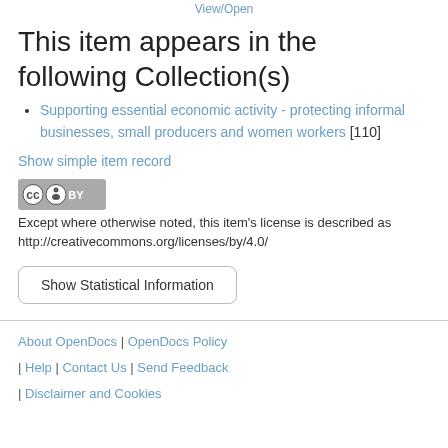View/Open
This item appears in the following Collection(s)
Supporting essential economic activity - protecting informal businesses, small producers and women workers [110]
Show simple item record
[Figure (logo): Creative Commons BY license badge]
Except where otherwise noted, this item's license is described as http://creativecommons.org/licenses/by/4.0/
Show Statistical Information
About OpenDocs | OpenDocs Policy | Help | Contact Us | Send Feedback | Disclaimer and Cookies